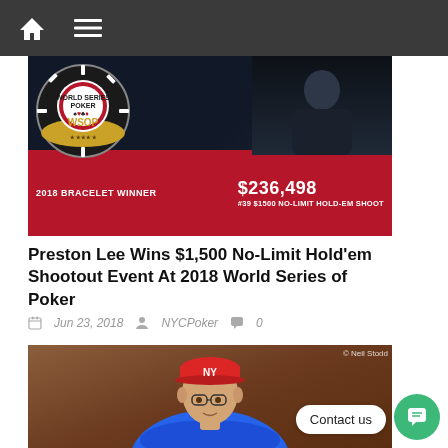Navigation bar with home and menu icons
[Figure (photo): WSOP 2018 Bracelet Winner banner showing poker chip logo, WSOP bracelet, text '2018 BRACELET WINNER', '$236,498', '#39 $1500 NO-LIMIT HOLD-EM SHOO...' on red background, with player in dark background]
Preston Lee Wins $1,500 No-Limit Hold'em Shootout Event At 2018 World Series of Poker
Jun 23, 2018  NYCPoker  0
[Figure (photo): Photo of a man wearing a red NY Yankees cap and glasses, sitting at a poker table in a blue shirt. Copyright Neil Stodd watermark in top right.]
Contact us